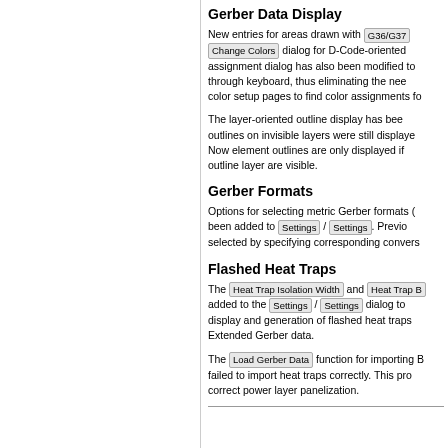Gerber Data Display
New entries for areas drawn with G36/G37 Change Colors dialog for D-Code-oriented assignment dialog has also been modified to through keyboard, thus eliminating the need color setup pages to find color assignments fo
The layer-oriented outline display has bee outlines on invisible layers were still displaye Now element outlines are only displayed if outline layer are visible.
Gerber Formats
Options for selecting metric Gerber formats ( been added to Settings / Settings . Previo selected by specifying corresponding convers
Flashed Heat Traps
The Heat Trap Isolation Width and Heat Trap B added to the Settings / Settings dialog to display and generation of flashed heat traps Extended Gerber data.
The Load Gerber Data function for importing B failed to import heat traps correctly. This pro correct power layer panelization.